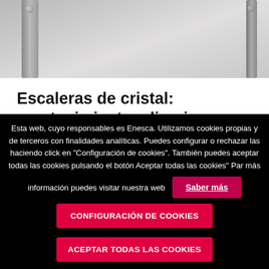[Figure (photo): Close-up photo of metal staircase glass hardware/rail fittings on a light surface]
Escaleras de cristal: mantenimiento y limpieza
Escaleras de cristal, un valor en alza Las escaleras de cristal en los últimos tiempos[...]
LEER MÁS
Esta web, cuyo responsables es Enesca. Utilizamos cookies propias y de terceros con finalidades analíticas. Puedes configurar o rechazar las haciendo click en "Configuración de cookies". También puedes aceptar todas las cookies pulsando el botón Aceptar todas las cookies" Par más información puedes visitar nuestra web
Saber más
CONFIGURACIÓN DE COOKIES
ACEPTAR TODAS LAS COOKIES